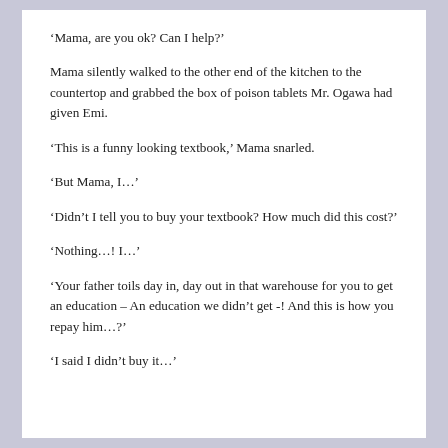‘Mama, are you ok? Can I help?’
Mama silently walked to the other end of the kitchen to the countertop and grabbed the box of poison tablets Mr. Ogawa had given Emi.
‘This is a funny looking textbook,’ Mama snarled.
‘But Mama, I…’
‘Didn’t I tell you to buy your textbook? How much did this cost?’
‘Nothing…! I…’
‘Your father toils day in, day out in that warehouse for you to get an education – An education we didn’t get -! And this is how you repay him…?’
‘I said I didn’t buy it…’